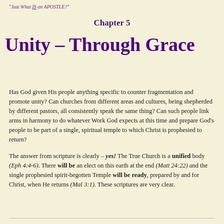"Just What IS an APOSTLE?"
Chapter 5
Unity – Through Grace
Has God given His people anything specific to counter fragmentation and promote unity? Can churches from different areas and cultures, being shepherded by different pastors, all consistently speak the same thing? Can such people link arms in harmony to do whatever Work God expects at this time and prepare God's people to be part of a single, spiritual temple to which Christ is prophesied to return?
The answer from scripture is clearly – yes! The True Church is a unified body (Eph 4:4-6). There will be an elect on this earth at the end (Matt 24:22) and the single prophesied spirit-begotten Temple will be ready, prepared by and for Christ, when He returns (Mal 3:1). These scriptures are very clear.